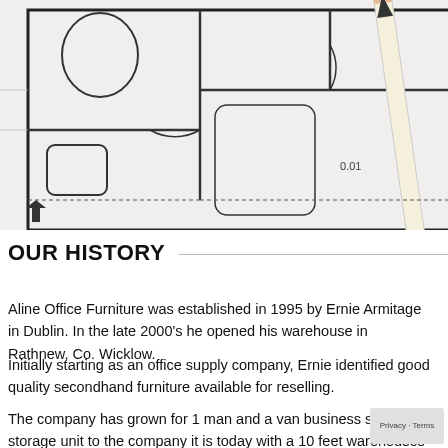[Figure (photo): Architectural blueprint/floor plan drawing with pencil visible at right edge, showing room layouts with circles and rectangles, black and white technical drawing style]
OUR HISTORY
Aline Office Furniture was established in 1995 by Ernie Armitage in Dublin. In the late 2000’s he opened his warehouse in Rathnew, Co. Wicklow.
Initially starting as an office supply company, Ernie identified good quality secondhand furniture available for reselling.
The company has grown for 1 man and a van business small storage unit to the company it is today with a 10 feet warehouses in Dublin and overflow warehouse in